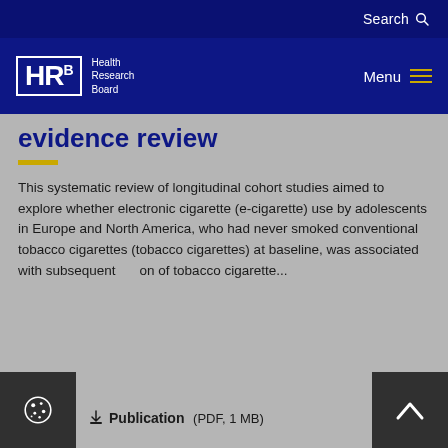Search
HRB Health Research Board  Menu
evidence review
This systematic review of longitudinal cohort studies aimed to explore whether electronic cigarette (e-cigarette) use by adolescents in Europe and North America, who had never smoked conventional tobacco cigarettes (tobacco cigarettes) at baseline, was associated with subsequent on of tobacco cigarette...
Publication (PDF, 1 MB)